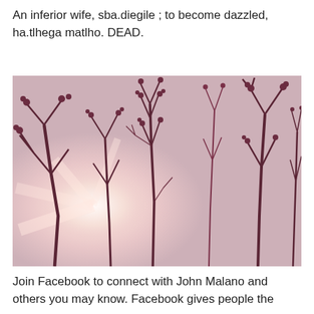An inferior wife, sba.diegile ; to become dazzled, ha.tlhega matlho. DEAD.
[Figure (photo): Silhouette of bare tree branches with small buds against a bright, hazy sky with sunlight flare, pink/mauve tones]
Join Facebook to connect with John Malano and others you may know. Facebook gives people the